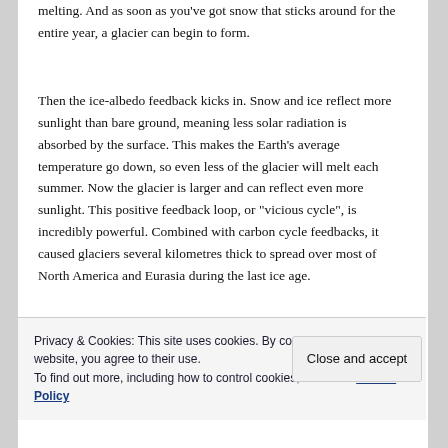melting. And as soon as you've got snow that sticks around for the entire year, a glacier can begin to form.
Then the ice-albedo feedback kicks in. Snow and ice reflect more sunlight than bare ground, meaning less solar radiation is absorbed by the surface. This makes the Earth's average temperature go down, so even less of the glacier will melt each summer. Now the glacier is larger and can reflect even more sunlight. This positive feedback loop, or "vicious cycle", is incredibly powerful. Combined with carbon cycle feedbacks, it caused glaciers several kilometres thick to spread over most of North America and Eurasia during the last ice age.
The conditions are reversed in the Southern Hemisphere:
Privacy & Cookies: This site uses cookies. By continuing to use this website, you agree to their use.
To find out more, including how to control cookies, see here: Cookie Policy
Close and accept